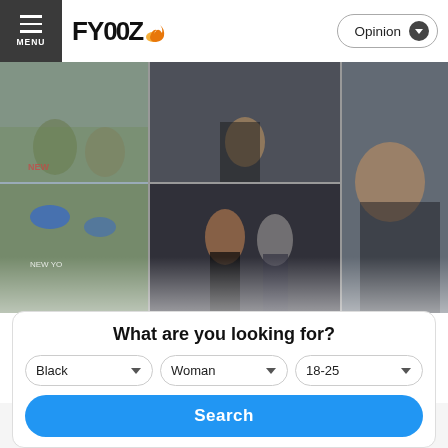FYOOZ — Opinion
[Figure (photo): Collage of 5 celebrity interracial couple photos arranged in a 3-column grid]
5 Celebrity Interracial Couples You Didn't Know Met Online
We all know the saying 'celebrities are just normal people' isn't true; they live extravagant lives we could only dream of...
What are you looking for?
Black ▾   Woman ▾   18-25 ▾
Search